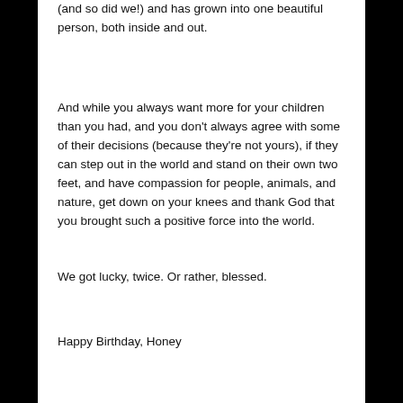(and so did we!) and has grown into one beautiful person, both inside and out.
And while you always want more for your children than you had, and you don't always agree with some of their decisions (because they're not yours), if they can step out in the world and stand on their own two feet, and have compassion for people, animals, and nature, get down on your knees and thank God that you brought such a positive force into the world.
We got lucky, twice. Or rather, blessed.
Happy Birthday, Honey